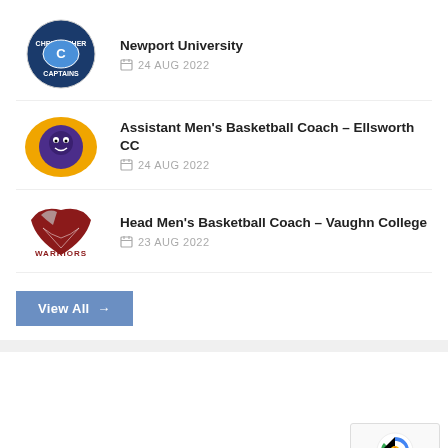Newport University – 24 AUG 2022
Assistant Men's Basketball Coach – Ellsworth CC – 24 AUG 2022
Head Men's Basketball Coach – Vaughn College – 23 AUG 2022
View All →
[Figure (screenshot): White content area (second card, mostly blank) with reCAPTCHA widget in bottom-right corner showing Privacy – Terms text]